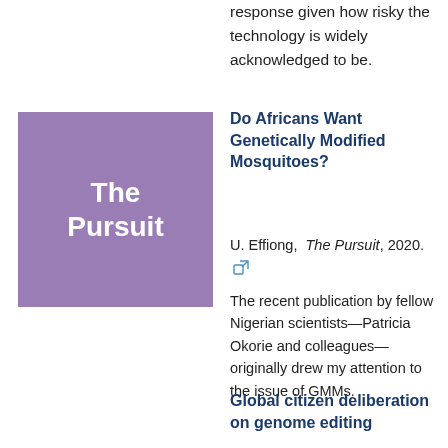response given how risky the technology is widely acknowledged to be.
[Figure (illustration): Purple square with white bold text reading 'The Pursuit']
Do Africans Want Genetically Modified Mosquitoes?
U. Effiong, The Pursuit, 2020.
The recent publication by fellow Nigerian scientists—Patricia Okorie and colleagues—originally drew my attention to the issue of GMMs.
Global citizen deliberation on genome editing